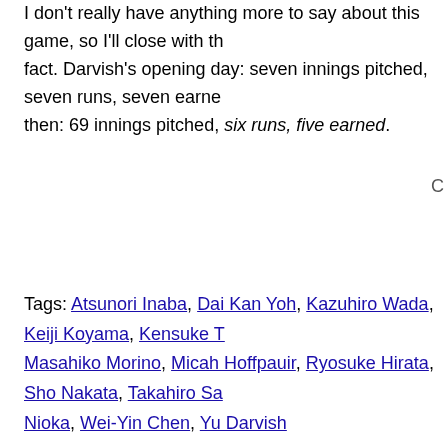I don't really have anything more to say about this game, so I'll close with this fact. Darvish's opening day: seven innings pitched, seven runs, seven earned. Since then: 69 innings pitched, six runs, five earned.
C
Tags: Atsunori Inaba, Dai Kan Yoh, Kazuhiro Wada, Keiji Koyama, Kensuke [truncated], Masahiko Morino, Micah Hoffpauir, Ryosuke Hirata, Sho Nakata, Takahiro Sa[truncated] Nioka, Wei-Yin Chen, Yu Darvish
2011 Breakout Candidates
Patrick » 13 April 2011 » In npb » 3 Comments
Tonight we take a look at eight guys who could take a step forward this seas…
Sho Nakata (1B/LF/DH, Nippon Ham Fighters) — Nakata was on my list las…